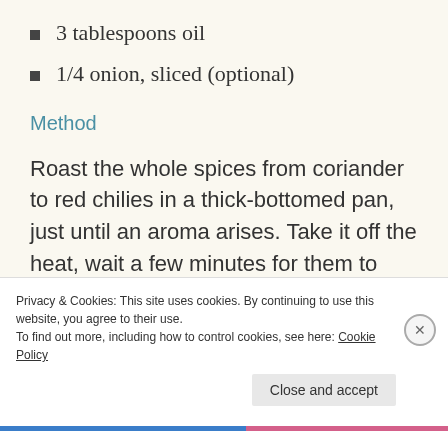3 tablespoons oil
1/4 onion, sliced (optional)
Method
Roast the whole spices from coriander to red chilies in a thick-bottomed pan, just until an aroma arises. Take it off the heat, wait a few minutes for them to cool and grind in a clean coffee grinder. Now mix in the powdered spices from the dry mango
Privacy & Cookies: This site uses cookies. By continuing to use this website, you agree to their use.
To find out more, including how to control cookies, see here: Cookie Policy
Close and accept